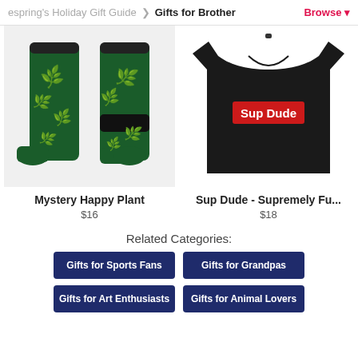espring's Holiday Gift Guide > Gifts for Brother Browse
[Figure (photo): Two dark green socks with yellow-green tropical leaf pattern]
[Figure (photo): Black t-shirt with red box logo reading 'Sup Dude']
Mystery Happy Plant
$16
Sup Dude - Supremely Fu...
$18
Related Categories:
Gifts for Sports Fans
Gifts for Grandpas
Gifts for Art Enthusiasts
Gifts for Animal Lovers